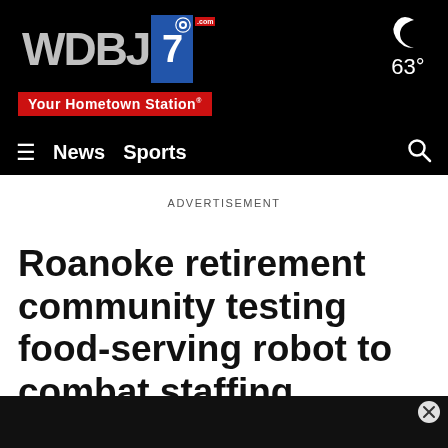[Figure (logo): WDBJ7 CBS affiliate logo with 'Your Hometown Station' tagline, on black header bar with navigation links (News, Sports) and weather (63°)]
ADVERTISEMENT
Roanoke retirement community testing food-serving robot to combat staffing shortage